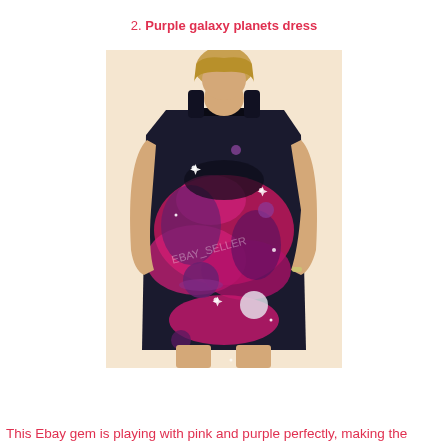2. Purple galaxy planets dress
[Figure (photo): A woman wearing a form-fitting sleeveless mini dress with a purple and pink galaxy/space print featuring planets and stars, against a white background.]
This Ebay gem is playing with pink and purple perfectly, making the